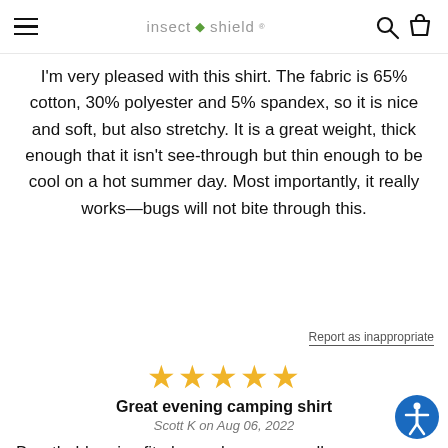insect shield
I'm very pleased with this shirt. The fabric is 65% cotton, 30% polyester and 5% spandex, so it is nice and soft, but also stretchy. It is a great weight, thick enough that it isn't see-through but thin enough to be cool on a hot summer day. Most importantly, it really works—bugs will not bite through this.
Report as inappropriate
[Figure (other): Five gold star rating icons]
Great evening camping shirt
Scott K on Aug 06, 2022
Breathable, nice fit , keeps bugs away all eve sitting out side and great for cool walks in the